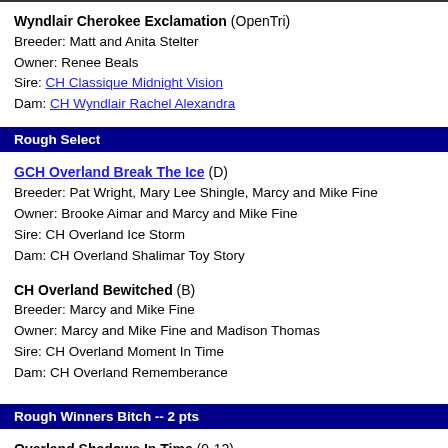Wyndlair Cherokee Exclamation (OpenTri)
Breeder: Matt and Anita Stelter
Owner: Renee Beals
Sire: CH Classique Midnight Vision
Dam: CH Wyndlair Rachel Alexandra
Rough Select
GCH Overland Break The Ice (D)
Breeder: Pat Wright, Mary Lee Shingle, Marcy and Mike Fine
Owner: Brooke Aimar and Marcy and Mike Fine
Sire: CH Overland Ice Storm
Dam: CH Overland Shalimar Toy Story
CH Overland Bewitched (B)
Breeder: Marcy and Mike Fine
Owner: Marcy and Mike Fine and Madison Thomas
Sire: CH Overland Moment In Time
Dam: CH Overland Rememberance
Rough Winners Bitch -- 2 pts
Overland Shadows In Time (9-12)